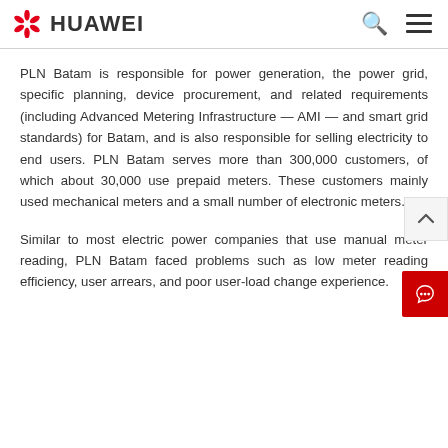HUAWEI
PLN Batam is responsible for power generation, the power grid, specific planning, device procurement, and related requirements (including Advanced Metering Infrastructure — AMI — and smart grid standards) for Batam, and is also responsible for selling electricity to end users. PLN Batam serves more than 300,000 customers, of which about 30,000 use prepaid meters. These customers mainly used mechanical meters and a small number of electronic meters.
Similar to most electric power companies that use manual meter reading, PLN Batam faced problems such as low meter reading efficiency, user arrears, and poor user-load change experience.